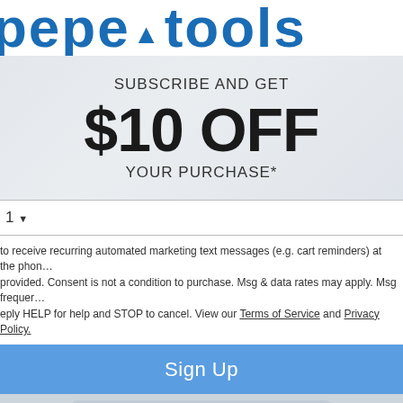pepetools
SUBSCRIBE AND GET
$10 OFF
YOUR PURCHASE*
1
to receive recurring automated marketing text messages (e.g. cart reminders) at the phone provided. Consent is not a condition to purchase. Msg & data rates may apply. Msg frequency. Reply HELP for help and STOP to cancel. View our Terms of Service and Privacy Policy.
Sign Up
NO THANKS